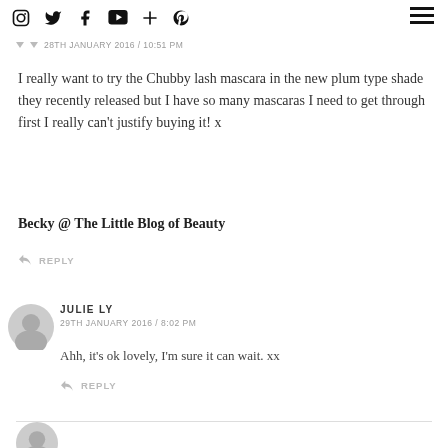Instagram Twitter Facebook YouTube Plus Pinterest [menu]
28TH JANUARY 2016 / 10:51 PM
I really want to try the Chubby lash mascara in the new plum type shade they recently released but I have so many mascaras I need to get through first I really can't justify buying it! x
Becky @ The Little Blog of Beauty
REPLY
JULIE LY
29TH JANUARY 2016 / 8:02 PM
Ahh, it's ok lovely, I'm sure it can wait. xx
REPLY